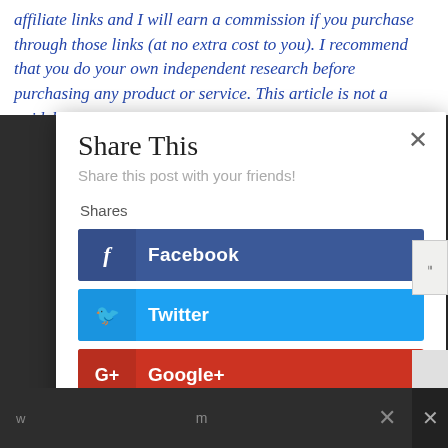affiliate links and I will earn a commission if you purchase through those links (at no extra cost to you). I recommend that you do your own independent research before purchasing any product or service. This article is not a guideline, a recommendation or endorsement of
Share This
Share this post with your friends!
Shares
Facebook
Twitter
Google+
Pinterest